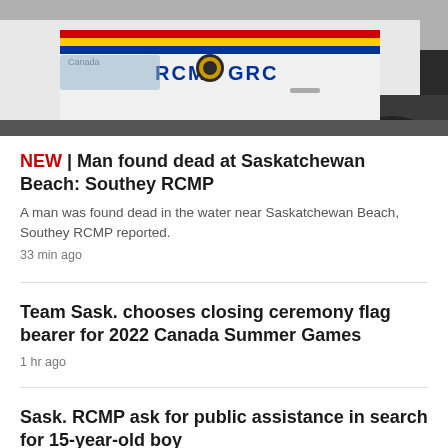[Figure (photo): RCMP GRC police vehicle, white truck with RCMP and GRC logo visible on the door panel]
NEW | Man found dead at Saskatchewan Beach: Southey RCMP
A man was found dead in the water near Saskatchewan Beach, Southey RCMP reported.
33 min ago
Team Sask. chooses closing ceremony flag bearer for 2022 Canada Summer Games
1 hr ago
Sask. RCMP ask for public assistance in search for 15-year-old boy